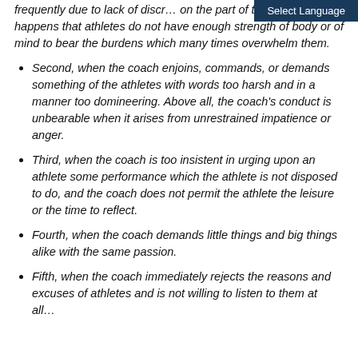Select Language
frequently due to lack of discr… on the part of the coach. It often happens that athletes do not have enough strength of body or of mind to bear the burdens which many times overwhelm them.
Second, when the coach enjoins, commands, or demands something of the athletes with words too harsh and in a manner too domineering. Above all, the coach's conduct is unbearable when it arises from unrestrained impatience or anger.
Third, when the coach is too insistent in urging upon an athlete some performance which the athlete is not disposed to do, and the coach does not permit the athlete the leisure or the time to reflect.
Fourth, when the coach demands little things and big things alike with the same passion.
Fifth, when the coach immediately rejects the reasons and excuses of athletes and is not willing to listen to them at all…